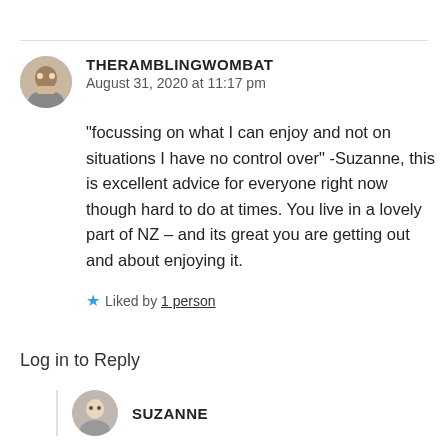THERAMBLINGWOMBAT
August 31, 2020 at 11:17 pm
“focussing on what I can enjoy and not on situations I have no control over” -Suzanne, this is excellent advice for everyone right now though hard to do at times. You live in a lovely part of NZ – and its great you are getting out and about enjoying it.
Liked by 1 person
Log in to Reply
SUZANNE